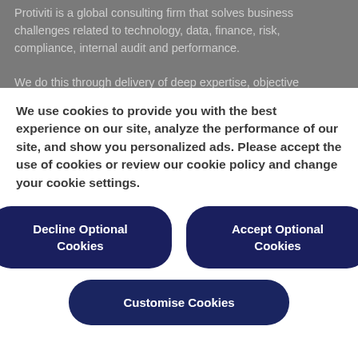Protiviti is a global consulting firm that solves business challenges related to technology, data, finance, risk, compliance, internal audit and performance.

We do this through delivery of deep expertise, objective insights, a tailored approach and unparalleled collaboration to help you confidently face the future.
We use cookies to provide you with the best experience on our site, analyze the performance of our site, and show you personalized ads. Please accept the use of cookies or review our cookie policy and change your cookie settings.
Decline Optional Cookies
Accept Optional Cookies
Customise Cookies